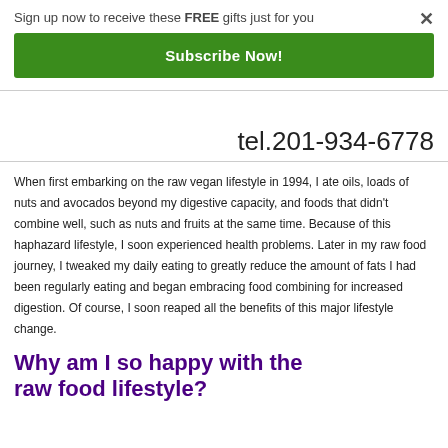Sign up now to receive these FREE gifts just for you
Subscribe Now!
tel.201-934-6778
When first embarking on the raw vegan lifestyle in 1994, I ate oils, loads of nuts and avocados beyond my digestive capacity, and foods that didn't combine well, such as nuts and fruits at the same time. Because of this haphazard lifestyle, I soon experienced health problems. Later in my raw food journey, I tweaked my daily eating to greatly reduce the amount of fats I had been regularly eating and began embracing food combining for increased digestion. Of course, I soon reaped all the benefits of this major lifestyle change.
Why am I so happy with the raw food lifestyle?